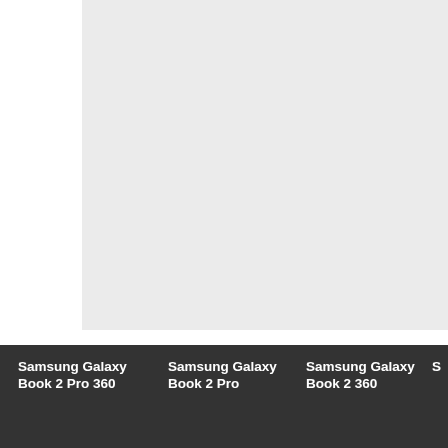[Figure (photo): A Samsung Galaxy Book laptop device shown with its screen open, displayed against a light gray background. The image shows the device from a front-facing angle.]
Samsung Galaxy Book 2 Pro 360
Samsung Galaxy Book 2 Pro
Samsung Galaxy Book 2 360
S